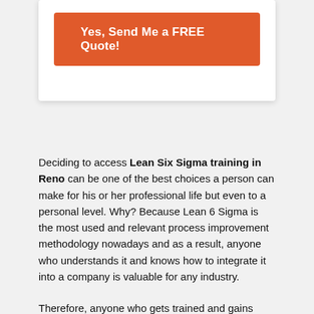[Figure (other): Orange CTA button labeled 'Yes, Send Me a FREE Quote!' inside a white card with shadow]
Deciding to access Lean Six Sigma training in Reno can be one of the best choices a person can make for his or her professional life but even to a personal level. Why? Because Lean 6 Sigma is the most used and relevant process improvement methodology nowadays and as a result, anyone who understands it and knows how to integrate it into a company is valuable for any industry.
Therefore, anyone who gets trained and gains experience in the field is able to have more career options, work opportunities, and climb to better positions within a business. Also, Lean Six Sigma training has been shown to...